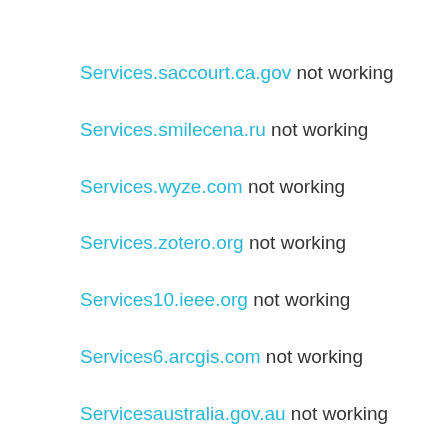Services.saccourt.ca.gov not working
Services.smilecena.ru not working
Services.wyze.com not working
Services.zotero.org not working
Services10.ieee.org not working
Services6.arcgis.com not working
Servicesaustralia.gov.au not working
Serviceuptime.com not working
Servidentalplus.com not working